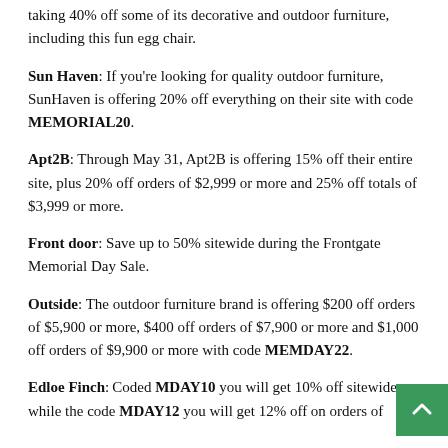taking 40% off some of its decorative and outdoor furniture, including this fun egg chair.
Sun Haven: If you're looking for quality outdoor furniture, SunHaven is offering 20% off everything on their site with code MEMORIAL20.
Apt2B: Through May 31, Apt2B is offering 15% off their entire site, plus 20% off orders of $2,999 or more and 25% off totals of $3,999 or more.
Front door: Save up to 50% sitewide during the Frontgate Memorial Day Sale.
Outside: The outdoor furniture brand is offering $200 off orders of $5,900 or more, $400 off orders of $7,900 or more and $1,000 off orders of $9,900 or more with code MEMDAY22.
Edloe Finch: Coded MDAY10 you will get 10% off sitewide while the code MDAY12 you will get 12% off on orders of